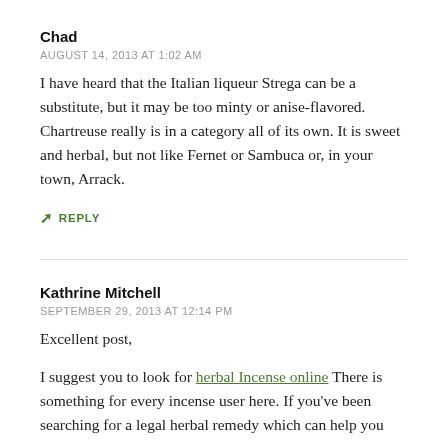Chad
AUGUST 14, 2013 AT 1:02 AM
I have heard that the Italian liqueur Strega can be a substitute, but it may be too minty or anise-flavored. Chartreuse really is in a category all of its own. It is sweet and herbal, but not like Fernet or Sambuca or, in your town, Arrack.
↳ REPLY
Kathrine Mitchell
SEPTEMBER 29, 2013 AT 12:14 PM
Excellent post,
I suggest you to look for herbal Incense online There is something for every incense user here. If you've been searching for a legal herbal remedy which can help you